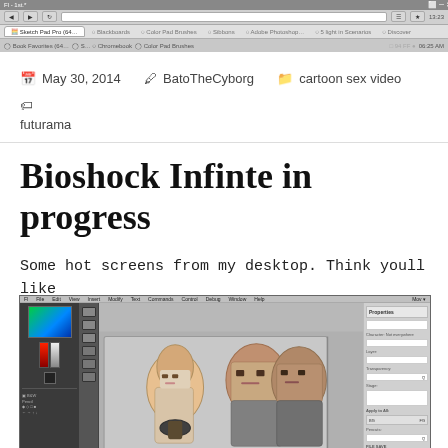[Figure (screenshot): Browser window screenshot showing desktop with multiple open tabs and a toolbar]
May 30, 2014   BatoTheCyborg   cartoon sex video   futurama
Bioshock Infinte in progress
Some hot screens from my desktop. Think youll like this ones.
[Figure (screenshot): Adobe Photoshop or animation software screenshot showing Bioshock Infinite characters in progress artwork]